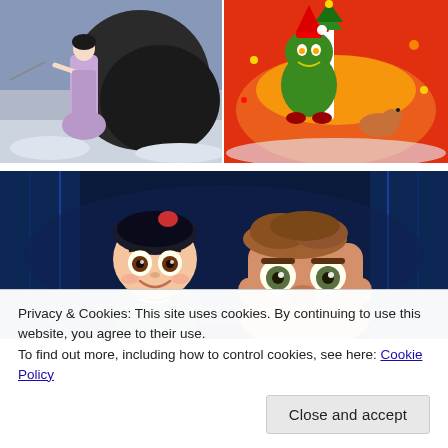[Figure (photo): Woman in lavender dress standing in snowy outdoor scene, pulling a rope or branch]
[Figure (photo): Animated movie poster - The Grinch character (green) overlooking a colorful Christmas scene with a small dog, candy cane striped pole, and festive decorations]
[Figure (photo): Animated movie still - two cartoon characters, a girl with dark hair and a larger male character, from what appears to be Ralph Breaks the Internet / Wreck-It Ralph]
Privacy & Cookies: This site uses cookies. By continuing to use this website, you agree to their use.
To find out more, including how to control cookies, see here: Cookie Policy
Close and accept